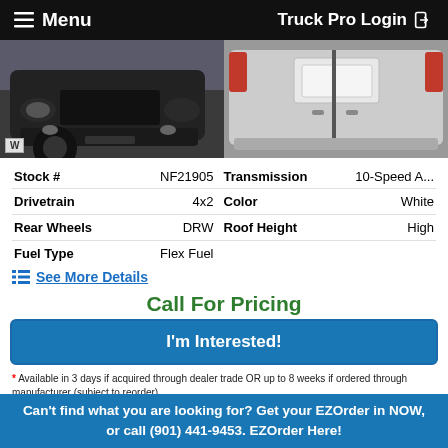≡ Menu    Truck Pro Login →
[Figure (photo): Two vehicle photos side by side: left shows front/underside of a white commercial van, right shows rear of a white van with open doors]
| Stock # | NF21905 | Transmission | 10-Speed A... |
| Drivetrain | 4x2 | Color | White |
| Rear Wheels | DRW | Roof Height | High |
| Fuel Type | Flex Fuel |  |  |
≡  See More Details
Call For Pricing
I'm Interested!
* Available in 3 days if acquired through dealer trade OR up to 8 weeks if ordered through manufacturer (subject to reorder)
Can't find what you are looking for? Get your EZOrder in NOW, or call (901) 441-9453. EZOrder Here!